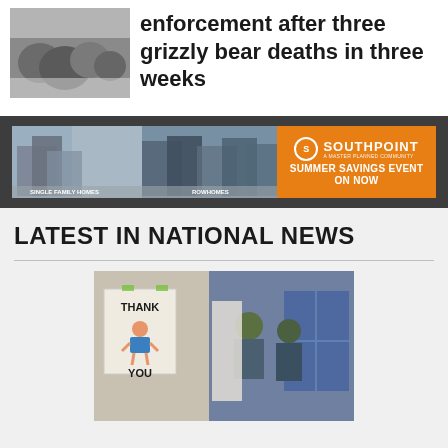[Figure (photo): Grizzly bears in snow]
enforcement after three grizzly bear deaths in three weeks
[Figure (other): Southpoint advertisement banner – Single Family Homes and Rowhomes. Summer Savings Event On Now.]
LATEST IN NATIONAL NEWS
[Figure (photo): Healthcare workers inside a medical facility with a Thank You sign on the wall]